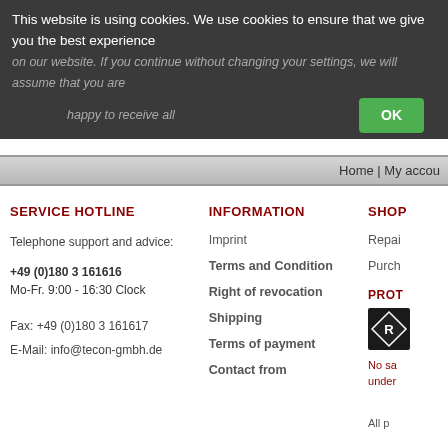This website is using cookies. We use cookies to ensure that we give you the best experience on our website. If you continue without changing your settings, we will assume that you are happy to receive all
OK
Home | My accou
SERVICE HOTLINE
INFORMATION
SHOP
Telephone support and advice:
+49 (0)180 3 161616
Mo-Fr. 9:00 - 16:30 Clock
Fax: +49 (0)180 3 161617
E-Mail: info@tecon-gmbh.de
Imprint
Terms and Condition
Right of revocation
Shipping
Terms of payment
Contact from
Repai
Purch
PROT
[Figure (logo): Restricted badge - black diamond shape with R label]
No sa under
All p